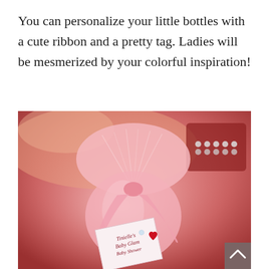You can personalize your little bottles with a cute ribbon and a pretty tag. Ladies will be mesmerized by your colorful inspiration!
[Figure (photo): A pink organza gift bag tied with a pink ribbon and a square white tag that reads 'Tinielle's Baby Glam Baby Shower', with a small rhinestone and red heart decoration. Background is blurred pink tones with a jewelry box visible in the upper right. A gray back-to-top arrow button appears in the bottom right corner.]